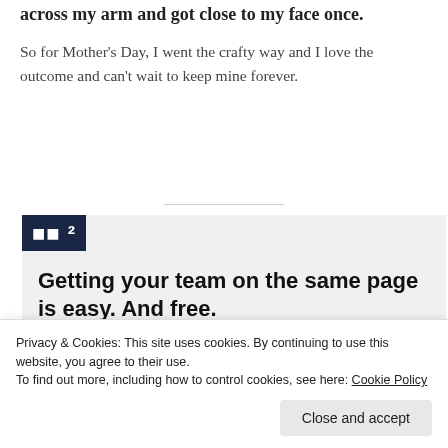across my arm and got close to my face once.
So for Mother's Day, I went the crafty way and I love the outcome and can't wait to keep mine forever.
[Figure (infographic): WordPress.com advertisement showing 'Getting your team on the same page is easy. And free.' with three person avatar photos and a blue plus button circle.]
Privacy & Cookies: This site uses cookies. By continuing to use this website, you agree to their use.
To find out more, including how to control cookies, see here: Cookie Policy